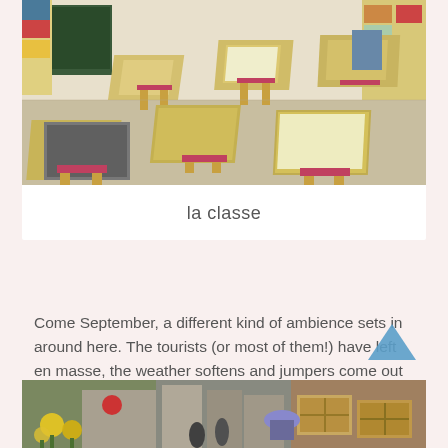[Figure (photo): Photograph of a French primary school classroom with yellow-framed desks and pink/red chairs, colorful educational materials on shelves, and a blackboard visible in the background.]
la classe
Come September, a different kind of ambience sets in around here.  The tourists (or most of them!) have left en masse, the weather softens and jumpers come out for nights on the terrace, the markets no longer have ‘bouchons’ (traffic jams):
[Figure (photo): Partial view of outdoor market scene, showing flowers and people in a street.]